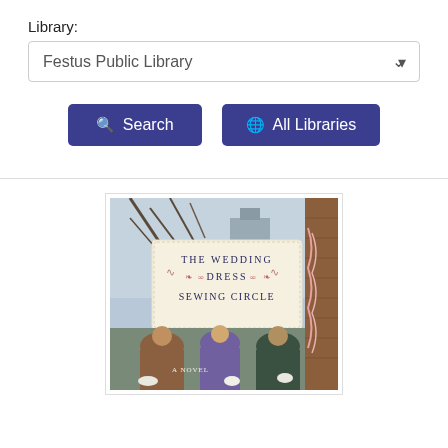Library:
Festus Public Library
Search
All Libraries
[Figure (photo): Book cover of 'The Wedding Dress Sewing Circle - A Novel', showing three women sewing together outdoors, with bare trees and buildings in the background. The title is displayed on a cream-colored banner-style label with decorative flourishes.]